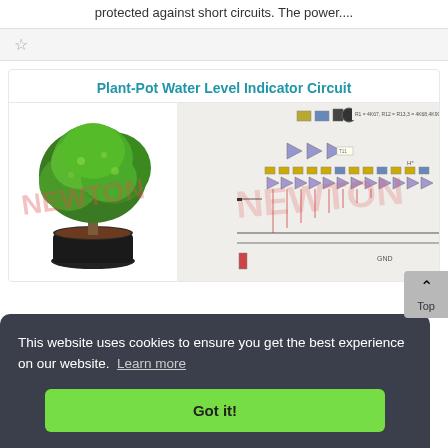protected against short circuits. The power....
Plant-Pot Water Level Indicator Circuit
[Figure (circuit-diagram): Plant-Pot Water Level Indicator Circuit showing a plant pot on the left and an electronic circuit diagram on the right with LEDs, transistors, and wiring. Watermark text NEWTON visible.]
This website uses cookies to ensure you get the best experience on our website. Learn more
Got it!
plants ated eful unt of water in the pot and alerts the grower.....